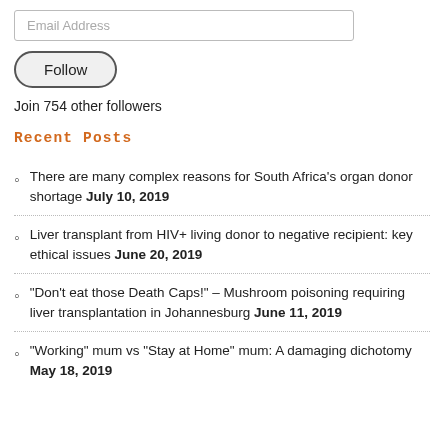Email Address
Follow
Join 754 other followers
Recent Posts
There are many complex reasons for South Africa's organ donor shortage July 10, 2019
Liver transplant from HIV+ living donor to negative recipient: key ethical issues June 20, 2019
“Don’t eat those Death Caps!” – Mushroom poisoning requiring liver transplantation in Johannesburg June 11, 2019
“Working” mum vs “Stay at Home” mum: A damaging dichotomy May 18, 2019